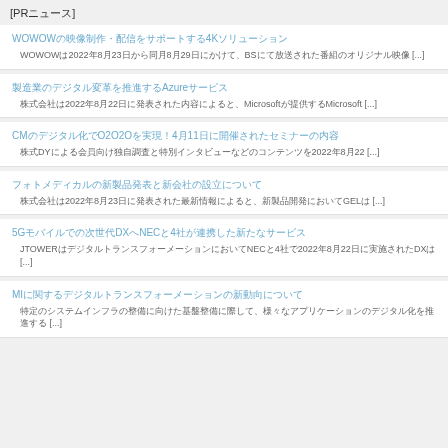[PRニュース]
WOWOWの映像制作・配信をサポートする4Kソリューション
WOWOWは2022年8月23日から同月8月29日にかけて、BSにて放送された番組のオリジナル映像 [...]
製造業のデジタル変革を推進するAzureサービス
株式会社2022年8月22日に発表された内容によると、Microsoftが提供するMicrosoft [...]
CMのデジタル化でO2O2Oを実現！4月11日に開催されたセミナーの内容
株式DYによる会員向け独自調査と特別インタビューなどのコンテンツを2022年8月22 [...]
フォトメディカルの新製品発表と新会社の設立について
株式会社は2022年8月23日に発表された最新情報によると、新製品開発においてGELは [...]
5Gモバイルでの次世代DXへNECと4社が連携した新たなサービス
JTOWERはデジタルトランスフォーメーションにおいてNECと4社で2022年8月22日に実施されたDXは [...]
MIに関するデジタルトランスフォーメーションの新動向について
特定のシステムインフラの整備に向けた基盤整備に際して、様々なアプリケーションのデジタル化を推進する [...]